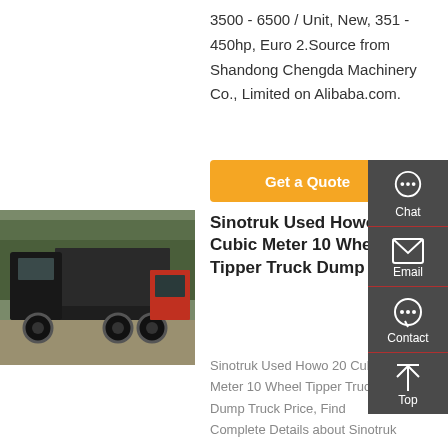3500 - 6500 / Unit, New, 351 - 450hp, Euro 2.Source from Shandong Chengda Machinery Co., Limited on Alibaba.com.
Get a Quote
[Figure (photo): A dark/black Sinotruk Howo dump truck with tipper body, parked with trees in the background, viewed from rear-left angle. Another truck visible on the right.]
Sinotruk Used Howo 20 Cubic Meter 10 Wheel Tipper Truck Dump ...
Sinotruk Used Howo 20 Cubic Meter 10 Wheel Tipper Truck Dump Truck Price, Find Complete Details about Sinotruk
Chat
Email
Contact
Top